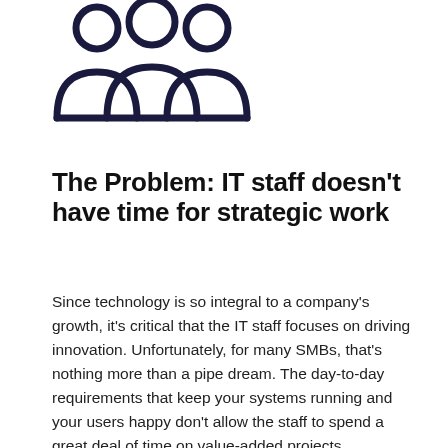[Figure (illustration): Icon of three people (group/team silhouette outline) in dark navy color]
The Problem: IT staff doesn’t have time for strategic work
Since technology is so integral to a company’s growth, it’s critical that the IT staff focuses on driving innovation. Unfortunately, for many SMBs, that’s nothing more than a pipe dream. The day-to-day requirements that keep your systems running and your users happy don’t allow the staff to spend a great deal of time on value-added projects.